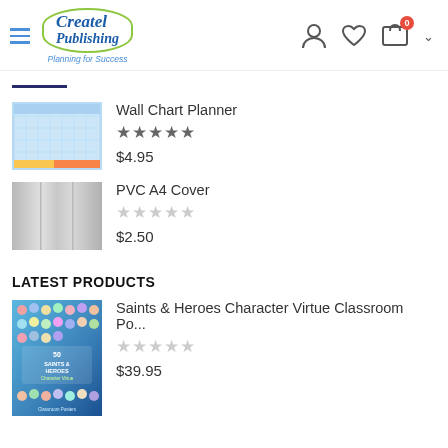Createl Publishing — Planning for Success
[Figure (screenshot): Createl Publishing logo with oval border and tagline 'Planning for Success']
Wall Chart Planner
★★★★★ $4.95
PVC A4 Cover
☆☆☆☆☆ $2.50
LATEST PRODUCTS
Saints & Heroes Character Virtue Classroom Po...
☆☆☆☆☆ $39.95